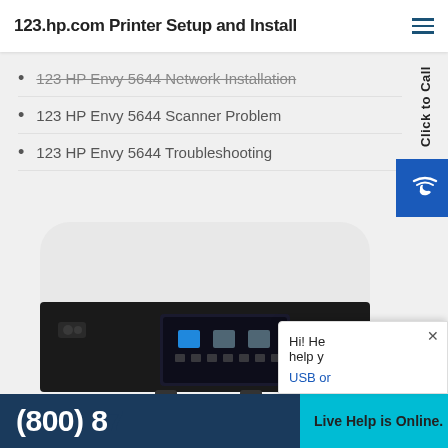123.hp.com Printer Setup and Install
123 HP Envy 5644 Network Installation
123 HP Envy 5644 Scanner Problem
123 HP Envy 5644 Troubleshooting
[Figure (photo): HP Envy 5644 all-in-one printer printing a colorful windsurfing photo, white and black casing with touchscreen display]
Click to Call
(800) 8...
Live Help is Online.
Hi! He... help ... USB or